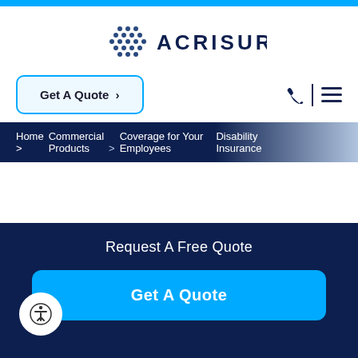[Figure (logo): Acrisure logo with dot-grid icon and ACRISURE text in dark navy]
Get A Quote >
Home > Commercial Products > Coverage for Your Employees > Disability Insurance
Request A Free Quote
Get A Quote